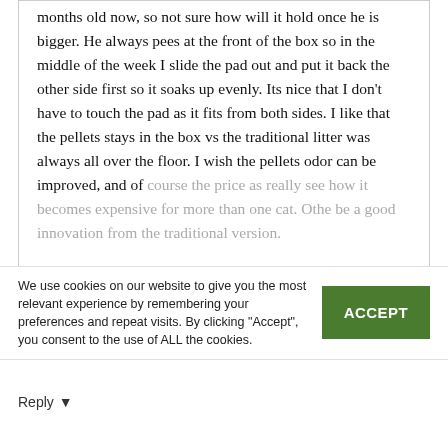months old now, so not sure how will it hold once he is bigger. He always pees at the front of the box so in the middle of the week I slide the pad out and put it back the other side first so it soaks up evenly. Its nice that I don't have to touch the pad as it fits from both sides. I like that the pellets stays in the box vs the traditional litter was always all over the floor. I wish the pellets odor can be improved, and of course the price as really see how it becomes expensive for more than one cat. Othe be a good innovation from the traditional version.
We use cookies on our website to give you the most relevant experience by remembering your preferences and repeat visits. By clicking "Accept", you consent to the use of ALL the cookies.
ACCEPT
Reply